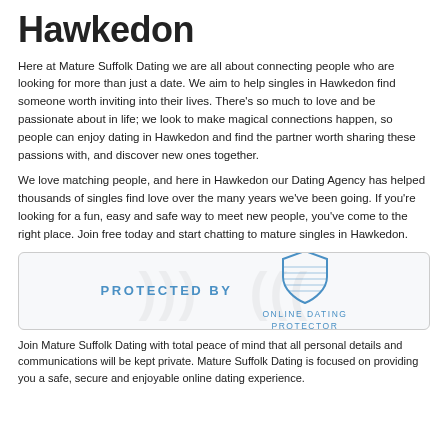Hawkedon
Here at Mature Suffolk Dating we are all about connecting people who are looking for more than just a date. We aim to help singles in Hawkedon find someone worth inviting into their lives. There's so much to love and be passionate about in life; we look to make magical connections happen, so people can enjoy dating in Hawkedon and find the partner worth sharing these passions with, and discover new ones together.
We love matching people, and here in Hawkedon our Dating Agency has helped thousands of singles find love over the many years we've been going. If you're looking for a fun, easy and safe way to meet new people, you've come to the right place. Join free today and start chatting to mature singles in Hawkedon.
[Figure (logo): Protected by Online Dating Protector badge with shield icon and decorative watermark]
Join Mature Suffolk Dating with total peace of mind that all personal details and communications will be kept private. Mature Suffolk Dating is focused on providing you a safe, secure and enjoyable online dating experience.